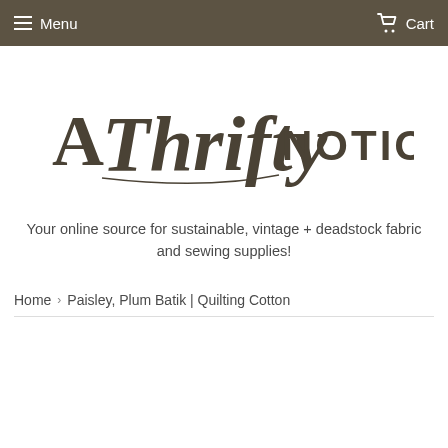Menu  Cart
[Figure (logo): A Thrifty Notion logo — cursive script 'Thrifty' with serif 'A' and 'NOTION' in spaced capitals, dark brown/olive color]
Your online source for sustainable, vintage + deadstock fabric and sewing supplies!
Home › Paisley, Plum Batik | Quilting Cotton